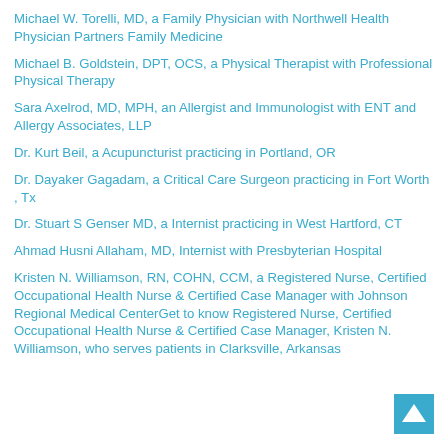Michael W. Torelli, MD, a Family Physician with Northwell Health Physician Partners Family Medicine
Michael B. Goldstein, DPT, OCS, a Physical Therapist with Professional Physical Therapy
Sara Axelrod, MD, MPH, an Allergist and Immunologist with ENT and Allergy Associates, LLP
Dr. Kurt Beil, a Acupuncturist practicing in Portland, OR
Dr. Dayaker Gagadam, a Critical Care Surgeon practicing in Fort Worth , Tx
Dr. Stuart S Genser MD, a Internist practicing in West Hartford, CT
Ahmad Husni Allaham, MD, Internist with Presbyterian Hospital
Kristen N. Williamson, RN, COHN, CCM, a Registered Nurse, Certified Occupational Health Nurse & Certified Case Manager with Johnson Regional Medical CenterGet to know Registered Nurse, Certified Occupational Health Nurse & Certified Case Manager, Kristen N. Williamson, who serves patients in Clarksville, Arkansas